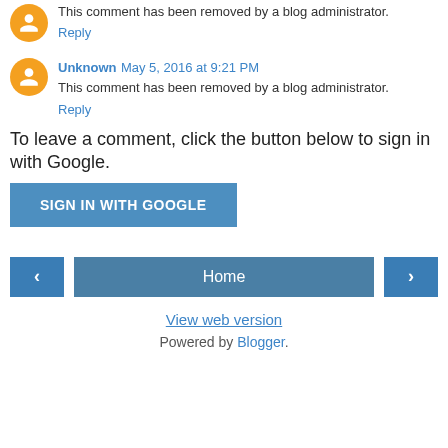This comment has been removed by a blog administrator.
Reply
Unknown  May 5, 2016 at 9:21 PM
This comment has been removed by a blog administrator.
Reply
To leave a comment, click the button below to sign in with Google.
SIGN IN WITH GOOGLE
< Home >
View web version
Powered by Blogger.